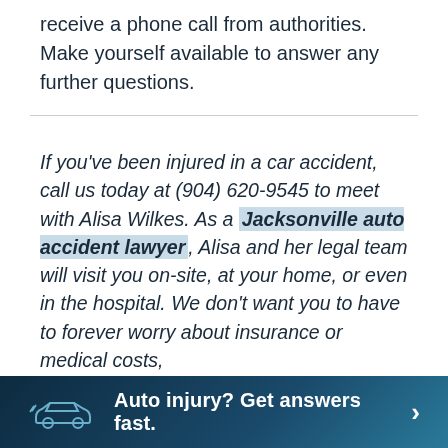receive a phone call from authorities. Make yourself available to answer any further questions.
If you've been injured in a car accident, call us today at (904) 620-9545 to meet with Alisa Wilkes. As a Jacksonville auto accident lawyer, Alisa and her legal team will visit you on-site, at your home, or even in the hospital. We don't want you to have to forever worry about insurance or medical costs,
Auto injury? Get answers fast.